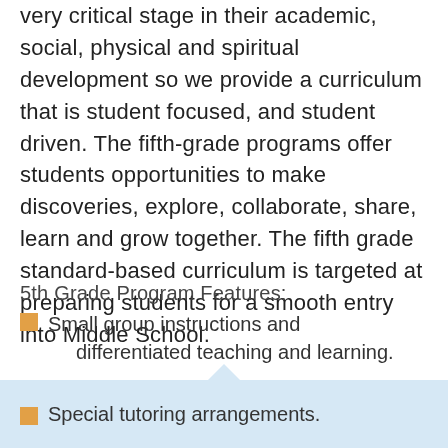very critical stage in their academic, social, physical and spiritual development so we provide a curriculum that is student focused, and student driven. The fifth-grade programs offer students opportunities to make discoveries, explore, collaborate, share, learn and grow together. The fifth grade standard-based curriculum is targeted at preparing students for a smooth entry into Middle School.
5th Grade Program Features:
Small group instructions and differentiated teaching and learning.
Special tutoring arrangements.